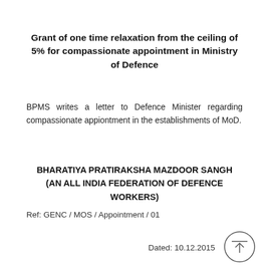Grant of one time relaxation from the ceiling of 5% for compassionate appointment in Ministry of Defence
BPMS writes a letter to Defence Minister regarding compassionate appiontment in the establishments of MoD.
BHARATIYA PRATIRAKSHA MAZDOOR SANGH
(AN ALL INDIA FEDERATION OF DEFENCE WORKERS)
Ref: GENC / MOS / Appointment / 01
Dated: 10.12.2015